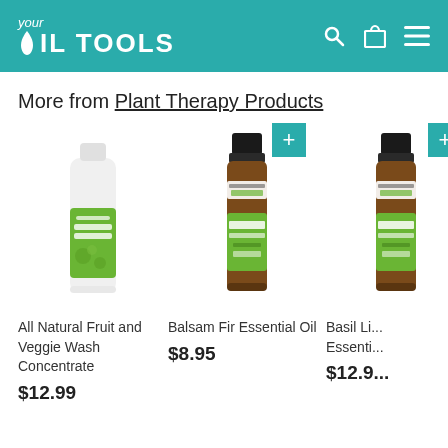your OIL TOOLS
More from Plant Therapy Products
[Figure (photo): Product photo of All Natural Fruit and Veggie Wash Concentrate bottle with green label]
All Natural Fruit and Veggie Wash Concentrate
$12.99
[Figure (photo): Product photo of Balsam Fir Essential Oil amber bottle with green label]
Balsam Fir Essential Oil
$8.95
[Figure (photo): Partially visible product photo of Basil Lemon Essential Oil]
Basil Li... Essenti...
$12.9...